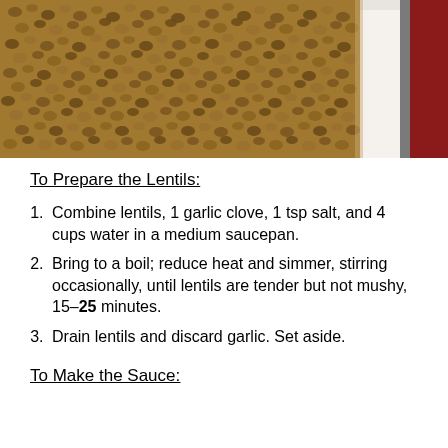[Figure (photo): Close-up photo of brown/green lentils spread on a white tray surface, with a red book or object visible on the right side of the frame.]
To Prepare the Lentils:
Combine lentils, 1 garlic clove, 1 tsp salt, and 4 cups water in a medium saucepan.
Bring to a boil; reduce heat and simmer, stirring occasionally, until lentils are tender but not mushy, 15–25 minutes.
Drain lentils and discard garlic. Set aside.
To Make the Sauce: